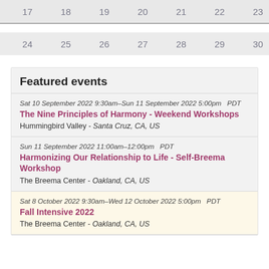| 17 | 18 | 19 | 20 | 21 | 22 | 23 |
| --- | --- | --- | --- | --- | --- | --- |
| 24 | 25 | 26 | 27 | 28 | 29 | 30 |
| --- | --- | --- | --- | --- | --- | --- |
Featured events
Sat 10 September 2022 9:30am–Sun 11 September 2022 5:00pm  PDT
The Nine Principles of Harmony - Weekend Workshops
Hummingbird Valley -  Santa Cruz, CA, US
Sun 11 September 2022 11:00am–12:00pm  PDT
Harmonizing Our Relationship to Life - Self-Breema Workshop
The Breema Center -  Oakland, CA, US
Sat 8 October 2022 9:30am–Wed 12 October 2022 5:00pm  PDT
Fall Intensive 2022
The Breema Center -  Oakland, CA, US